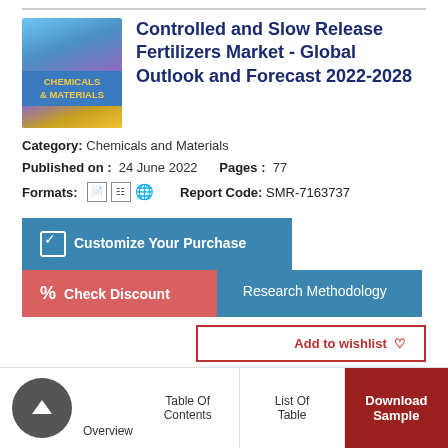[Figure (photo): Book cover with chemicals and materials imagery, blue/purple/yellow colors, label 'CHEMICALS & MATERIALS']
Controlled and Slow Release Fertilizers Market - Global Outlook and Forecast 2022-2028
Category: Chemicals and Materials
Published on : 24 June 2022   Pages : 77
Formats:    [pdf icon] [xls icon] [globe icon]   Report Code: SMR-7163737
✓ Customize Your Purchase
% Check Discount   Research Methodology
Add to wishlist ♡
Overview
Table Of Contents
List Of Table
Download Sample